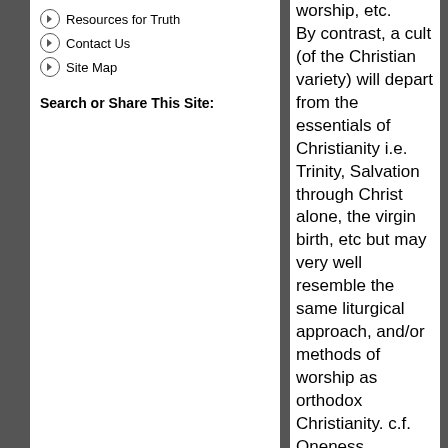Resources for Truth
Contact Us
Site Map
Search or Share This Site:
worship, etc. By contrast, a cult (of the Christian variety) will depart from the essentials of Christianity i.e. Trinity, Salvation through Christ alone, the virgin birth, etc but may very well resemble the same liturgical approach, and/or methods of worship as orthodox Christianity. c.f. Oneness Pentecostalism.
i.e. LDS/Mormons - The god of Mormonism is one of many gods who comes from a planet near the star called Kolob whereas Biblical Christianity adheres to the fundamental that